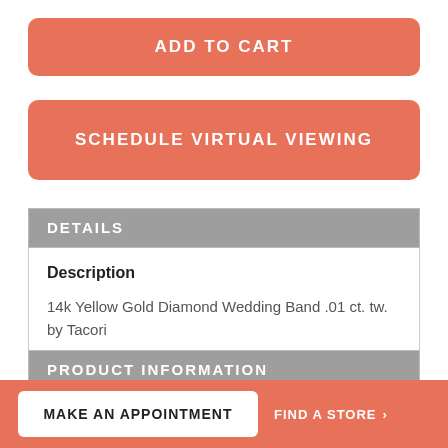ADD TO CART
SCHEDULE VIRTUAL VIEWING
DETAILS
Description
14k Yellow Gold Diamond Wedding Band .01 ct. tw. by Tacori
PRODUCT INFORMATION
| Item # | 0431921 |
| --- | --- |
MAKE AN APPOINTMENT
FIND A STORE >